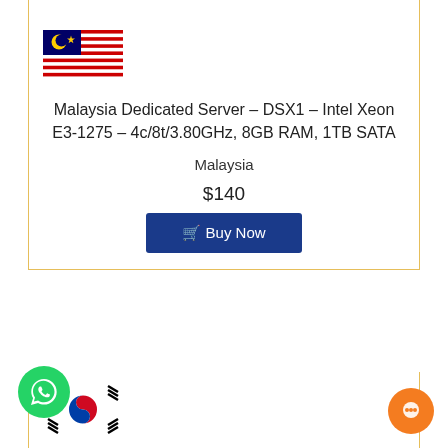[Figure (illustration): Malaysia flag icon — red and white stripes with blue canton containing yellow crescent and star]
Malaysia Dedicated Server – DSX1 – Intel Xeon E3-1275 – 4c/8t/3.80GHz, 8GB RAM, 1TB SATA
Malaysia
$140
Buy Now
[Figure (illustration): South Korea flag icon — Taegukgi with red/blue circle and black trigrams on white]
uth Korea Server – DSX1 – Intel Xeon L5630 – 4c/8t/2.40GHz, 8GB RAM, 1TB SATA